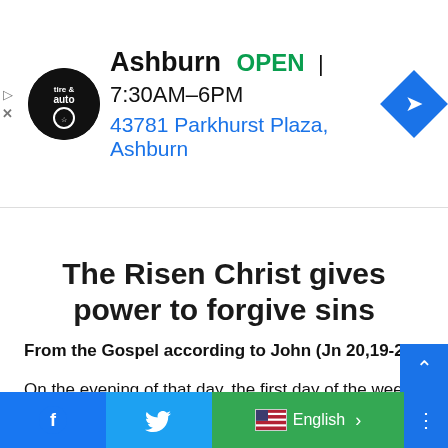[Figure (screenshot): Ad banner for Ashburn Tire & Auto showing logo, business name, OPEN status, hours 7:30AM-6PM, address 43781 Parkhurst Plaza Ashburn, and a blue diamond navigation icon]
The Risen Christ gives power to forgive sins
From the Gospel according to John (Jn 20,19-23)
On the evening of that day, the first day of the week, the doors being shut where the disciples were, for fear of the Jews, Jesus came and stood among them and said to them, “Peace be with you.” When he had said this, he showed them hi
[Figure (screenshot): Bottom navigation bar with Facebook icon (blue), Twitter icon (cyan), English language selector with US flag (green background), and more options button (blue)]